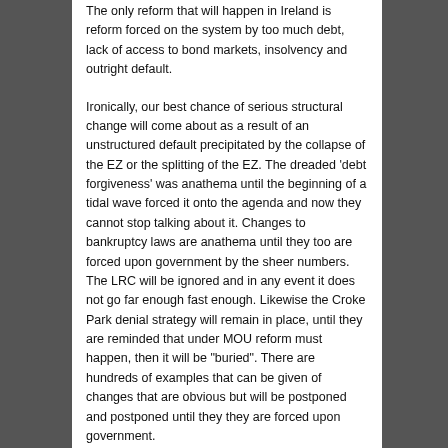The only reform that will happen in Ireland is reform forced on the system by too much debt, lack of access to bond markets, insolvency and outright default.
Ironically, our best chance of serious structural change will come about as a result of an unstructured default precipitated by the collapse of the EZ or the splitting of the EZ. The dreaded ‘debt forgiveness’ was anathema until the beginning of a tidal wave forced it onto the agenda and now they cannot stop talking about it. Changes to bankruptcy laws are anathema until they too are forced upon government by the sheer numbers. The LRC will be ignored and in any event it does not go far enough fast enough. Likewise the Croke Park denial strategy will remain in place, until they are reminded that under MOU reform must happen, then it will be “buried”. There are hundreds of examples that can be given of changes that are obvious but will be postponed and postponed until they they are forced upon government.